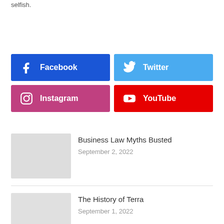selfish.
[Figure (infographic): Social media share buttons grid: Facebook (blue), Twitter (light blue), Instagram (pink/purple), YouTube (red)]
[Figure (photo): Thumbnail image for Business Law Myths Busted article]
Business Law Myths Busted
September 2, 2022
[Figure (photo): Thumbnail image for The History of Terra article]
The History of Terra
September 1, 2022